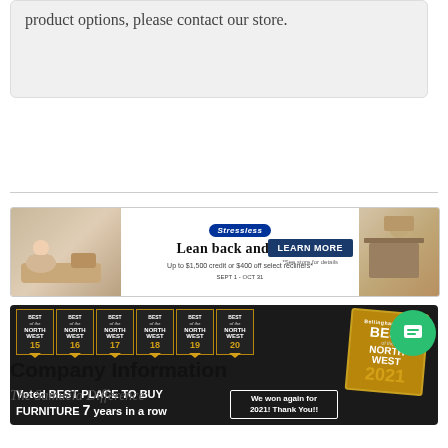product options, please contact our store.
[Figure (illustration): Stressless/Ekornes advertisement banner: people on sofa on the left, logo in center with text 'Lean back and save. Up to $1,500 credit or $400 off select recliners*', a 'LEARN MORE' button, and objects on the right.]
[Figure (illustration): Award banner on dark background showing 'Best of the Northwest' badges for years 2015-2020, with text 'Voted BEST PLACE TO BUY FURNITURE 7 years in a row' and 'We won again for 2021! Thank You!!' with a large 2021 award sign and a green chat button.]
Company Information
The Samuela Difference